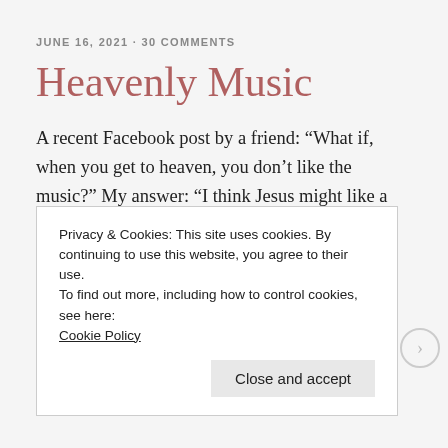JUNE 16, 2021 · 30 COMMENTS
Heavenly Music
A recent Facebook post by a friend: “What if, when you get to heaven, you don’t like the music?” My answer: “I think Jesus might like a little Journey and ‘Don’t Stop Believing’.” Or perhaps “Spirit in the Sky” by Norman Greenbaum would be more to his liking. Here’s hoping I
Privacy & Cookies: This site uses cookies. By continuing to use this website, you agree to their use.
To find out more, including how to control cookies, see here:
Cookie Policy

Close and accept